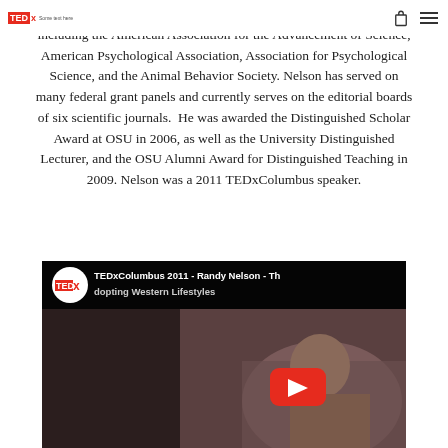TEDx logo and navigation icons
has been elected to Fellow status in several scientific associations including the American Association for the Advancement of Science, American Psychological Association, Association for Psychological Science, and the Animal Behavior Society. Nelson has served on many federal grant panels and currently serves on the editorial boards of six scientific journals. He was awarded the Distinguished Scholar Award at OSU in 2006, as well as the University Distinguished Lecturer, and the OSU Alumni Award for Distinguished Teaching in 2009. Nelson was a 2011 TEDxColumbus speaker.
[Figure (screenshot): Embedded TEDx video thumbnail for TEDxColumbus 2011 - Randy Nelson, showing the TEDx logo, video title text, and a YouTube play button overlay over a thumbnail image of a person.]